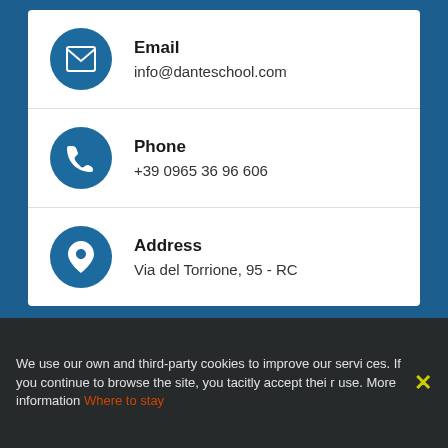Email
info@danteschool.com
Phone
+39 0965 36 96 606
Address
Via del Torrione, 95 - RC
[Figure (logo): Dante school logo with stylized D and medallion portrait]
We use our own and third-party cookies to improve our services. If you continue to browse the site, you tacitly accept their use. More information Where to stay